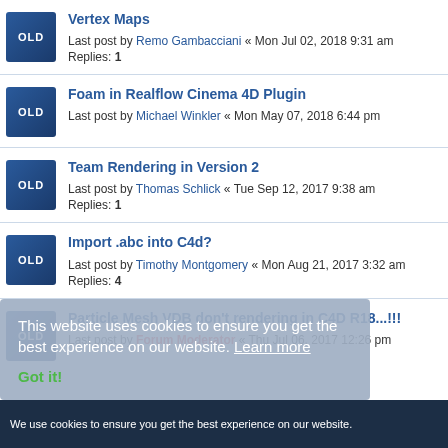Vertex Maps - Last post by Remo Gambacciani « Mon Jul 02, 2018 9:31 am - Replies: 1
Foam in Realflow Cinema 4D Plugin - Last post by Michael Winkler « Mon May 07, 2018 6:44 pm
Team Rendering in Version 2 - Last post by Thomas Schlick « Tue Sep 12, 2017 9:38 am - Replies: 1
Import .abc into C4d? - Last post by Timothy Montgomery « Mon Aug 21, 2017 3:32 am - Replies: 4
Particle Mesh VDB don't rendering in C4D R18...!!! - Last post by Forum Moderator « Thu Jul 06, 2017 12:26 pm
This website uses cookies to ensure you get the best experience on our website. Learn more
Got it!
We use cookies to ensure you get the best experience on our website.